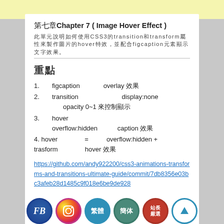第七章Chapter 7 ( Image Hover Effect )
此單元說明如何使用CSS3的transition和transform屬性來製作圖片的hover特效
重點
1. figcaption  overlay 效果
2. transition  display:none 不能使用，改用 opacity 0~1 來控制顯示
3. hover  overflow:hidden  caption 效果
4. hover = overflow:hidden + trasform  hover 效果
https://github.com/andy922200/css3-animations-transforms-and-transitions-ultimate-guide/commit/7db8356e03bc3afeb28d1485c9f018e6be9de928
[Figure (other): Row of social/navigation icon buttons: FB (blue), Instagram (gradient), 繁體 (blue), 簡体 (teal), 站長嚴選 (red), up arrow (blue outline)]